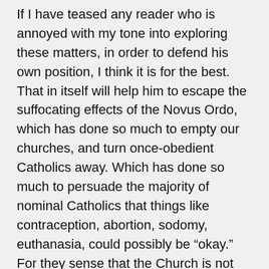If I have teased any reader who is annoyed with my tone into exploring these matters, in order to defend his own position, I think it is for the best. That in itself will help him to escape the suffocating effects of the Novus Ordo, which has done so much to empty our churches, and turn once-obedient Catholics away. Which has done so much to persuade the majority of nominal Catholics that things like contraception, abortion, sodomy, euthanasia, could possibly be “okay.” For they sense that the Church is not serious; that the Sacrifice of the Mass must be, instead, some Sunday morning counselling session, to make us feel better about ourselves.
Rather than abandon them, we should challenge Catholics of good will but weak faith. We should put before them exactly what the Church has always taught, and still demands: fidelity unto death. The more they can learn about her, the better acquainted they become with